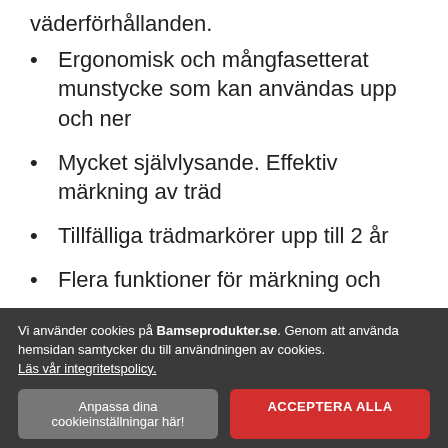väderförhållanden.
Ergonomisk och mångfasetterat munstycke som kan användas upp och ner
Mycket självlysande. Effektiv märkning av träd
Tillfälliga trädmarkörer upp till 2 år
Flera funktioner för märkning och
Vi använder cookies på Bamseprodukter.se. Genom att använda hemsidan samtycker du till användningen av cookies. Läs vår integritetspolicy.